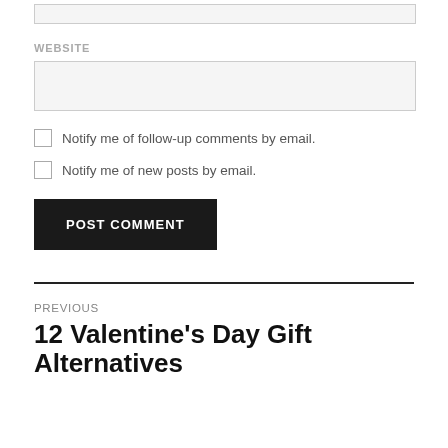WEBSITE
Notify me of follow-up comments by email.
Notify me of new posts by email.
POST COMMENT
PREVIOUS
12 Valentine’s Day Gift Alternatives